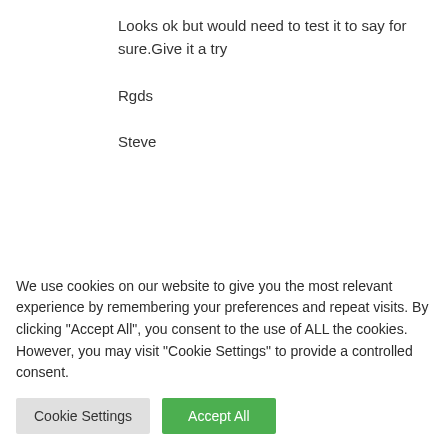Looks ok but would need to test it to say for sure.Give it a try

Rgds

Steve
[Figure (illustration): Avatar illustration of Omid Aghakhani — a bearded man sitting at a desk, light blue background]
Omid Aghakhani says:
January 27, 2020 at 8:25 pm
Than...
We use cookies on our website to give you the most relevant experience by remembering your preferences and repeat visits. By clicking “Accept All”, you consent to the use of ALL the cookies. However, you may visit "Cookie Settings" to provide a controlled consent.
Cookie Settings
Accept All